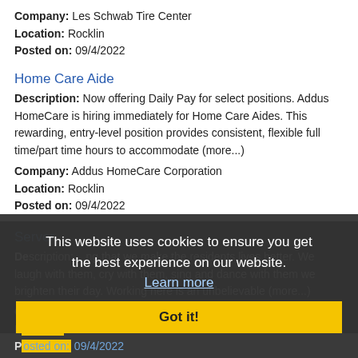Company: Les Schwab Tire Center
Location: Rocklin
Posted on: 09/4/2022
Home Care Aide
Description: Now offering Daily Pay for select positions. Addus HomeCare is hiring immediately for Home Care Aides. This rewarding, entry-level position provides consistent, flexible full time/part time hours to accommodate (more...)
Company: Addus HomeCare Corporation
Location: Rocklin
Posted on: 09/4/2022
Server
Description: ...ng that we make the residents lives better. We laugh with them, cry with them, sing and dance with them we brighten their day. Working here is an unbelievable (more...)
Company: Sunrise Senior Living
Location: Rocklin
Posted on: 09/4/2022
This website uses cookies to ensure you get the best experience on our website. Learn more Got it!
Hair Stylist
Description: Sport Clips Haircuts in Rocklin is IMMEDIATELY